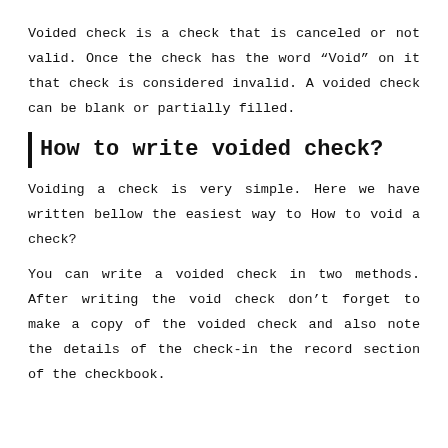Voided check is a check that is canceled or not valid. Once the check has the word “Void” on it that check is considered invalid. A voided check can be blank or partially filled.
How to write voided check?
Voiding a check is very simple. Here we have written bellow the easiest way to How to void a check?
You can write a voided check in two methods. After writing the void check don’t forget to make a copy of the voided check and also note the details of the check-in the record section of the checkbook.